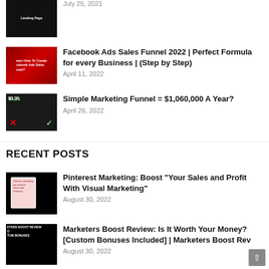[Figure (screenshot): Thumbnail for Landing Page video, dark blue background with white text reading Landing Page]
July 25, 2021
[Figure (screenshot): Thumbnail for Facebook Ads Sales Funnel 2022 video, red background with person and text]
Facebook Ads Sales Funnel 2022 | Perfect Formula for every Business | (Step by Step)
April 11, 2022
[Figure (screenshot): Thumbnail for Simple Marketing Funnel video, dark background with person and X and checkmark]
Simple Marketing Funnel = $1,060,000 A Year?
April 26, 2022
RECENT POSTS
[Figure (screenshot): Thumbnail for Pinterest Marketing video, dark with book/tablet]
Pinterest Marketing: Boost "Your Sales and Profit With Visual Marketing"
August 30, 2022
[Figure (screenshot): Thumbnail for Marketers Boost Review video, dark with person]
Marketers Boost Review: Is It Worth Your Money? [Custom Bonuses Included] | Marketers Boost Rev
August 30, 2022